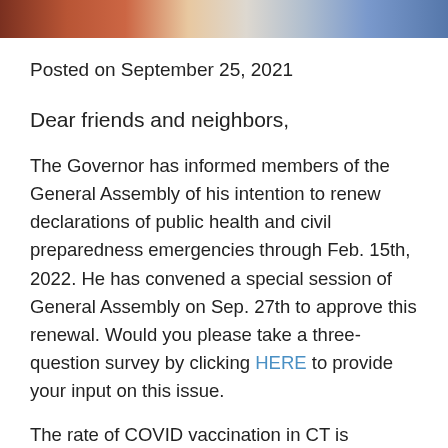[Figure (photo): Partial photo strip at top of page showing people, cropped]
Posted on September 25, 2021
Dear friends and neighbors,
The Governor has informed members of the General Assembly of his intention to renew declarations of public health and civil preparedness emergencies through Feb. 15th, 2022. He has convened a special session of General Assembly on Sep. 27th to approve this renewal. Would you please take a three-question survey by clicking HERE to provide your input on this issue.
The rate of COVID vaccination in CT is amongst the highest in the country. Over 95% of residents